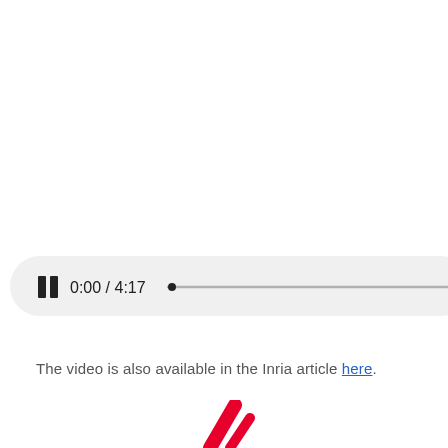[Figure (screenshot): A video player control bar showing a pause button (two vertical bars), time display '0:00 / 4:17', and a progress bar with a small dot indicator at the beginning. The player has a light gray rounded rectangular background.]
The video is also available in the Inria article here.
[Figure (logo): Partial view of a red logo (appears to be the Inria logo), showing red diagonal stroke elements at the bottom of the page.]